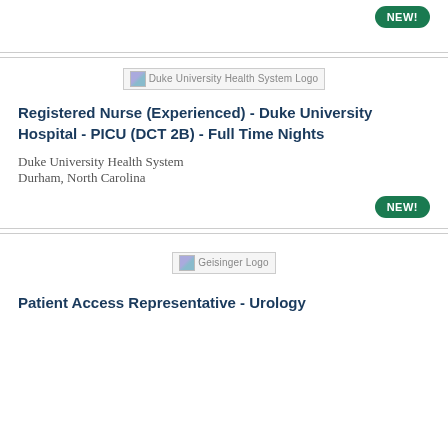[Figure (logo): NEW! badge (green pill) at top right, partial from previous listing]
[Figure (logo): Duke University Health System Logo placeholder image]
Registered Nurse (Experienced) - Duke University Hospital - PICU (DCT 2B) - Full Time Nights
Duke University Health System
Durham, North Carolina
[Figure (logo): NEW! badge (green pill) at bottom right of Duke listing]
[Figure (logo): Geisinger Logo placeholder image]
Patient Access Representative - Urology